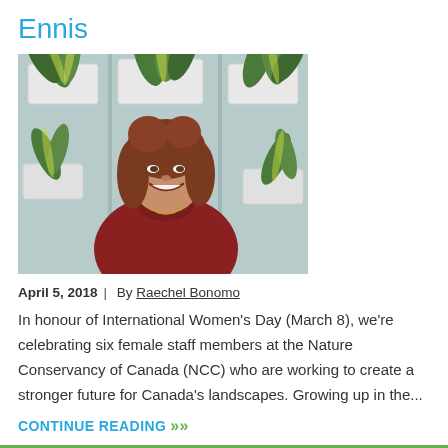Ennis
[Figure (photo): Woman with curly reddish-brown hair smiling, seated in front of a wall with green tropical plants in white pots]
April 5, 2018  |  By Raechel Bonomo
In honour of International Women's Day (March 8), we're celebrating six female staff members at the Nature Conservancy of Canada (NCC) who are working to create a stronger future for Canada's landscapes. Growing up in the...
CONTINUE READING »